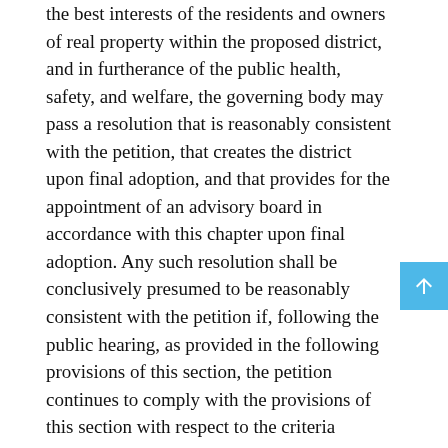the best interests of the residents and owners of real property within the proposed district, and in furtherance of the public health, safety, and welfare, the governing body may pass a resolution that is reasonably consistent with the petition, that creates the district upon final adoption, and that provides for the appointment of an advisory board in accordance with this chapter upon final adoption. Any such resolution shall be conclusively presumed to be reasonably consistent with the petition if, following the public hearing, as provided in the following provisions of this section, the petition continues to comply with the provisions of this section with respect to the criteria relating to minimum acreage or assessed valuation.
E. The resolution shall provide a description with specific terms and conditions of all commercial and industrial zoning classifications that apply within the district, but not within any town within the district that has adopted a zoning ordinance, that shall be in force in the district